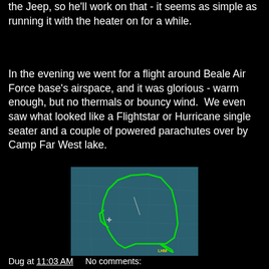the Jeep, so he'll work on that - it seems as simple as running it with the heater on for a while.
In the evening we went for a flight around Beale Air Force base's airspace, and it was glorious - warm enough, but no thermals or bouncy wind.  We even saw what looked like a Flightstar or Hurricane single seater and a couple of powered parachutes over by Camp Far West lake.
[Figure (map): Flight track map showing a green outlined flight path on a blue-teal background, depicting the route around Beale Air Force Base airspace. A small label reads 'LHM' at the bottom right of the track.]
Dug at 11:03 AM    No comments: